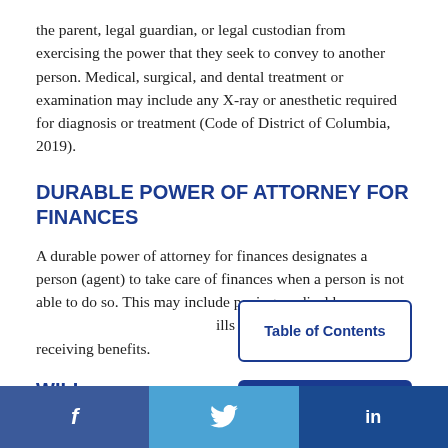the parent, legal guardian, or legal custodian from exercising the power that they seek to convey to another person. Medical, surgical, and dental treatment or examination may include any X-ray or anesthetic required for diagnosis or treatment (Code of District of Columbia, 2019).
DURABLE POWER OF ATTORNEY FOR FINANCES
A durable power of attorney for finances designates a person (agent) to take care of finances when a person is not able to do so. This may include paying medical bills and receiving benefits.
WILL
[Figure (other): Table of Contents button — outlined rectangle with dark blue border and text 'Table of Contents']
[Figure (other): Back to Top button — solid dark blue rectangle with white text 'Back to Top']
f  [Twitter bird icon]  in